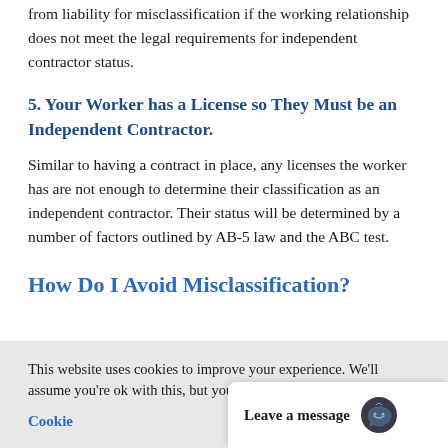from liability for misclassification if the working relationship does not meet the legal requirements for independent contractor status.
5. Your Worker has a License so They Must be an Independent Contractor.
Similar to having a contract in place, any licenses the worker has are not enough to determine their classification as an independent contractor. Their status will be determined by a number of factors outlined by AB-5 law and the ABC test.
How Do I Avoid Misclassification?
This website uses cookies to improve your experience. We'll assume you're ok with this, but you can opt-out if you wish.
Cookie
Leave a message